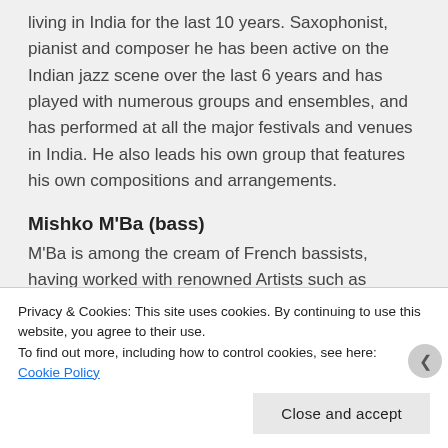living in India for the last 10 years. Saxophonist, pianist and composer he has been active on the Indian jazz scene over the last 6 years and has played with numerous groups and ensembles, and has performed at all the major festivals and venues in India. He also leads his own group that features his own compositions and arrangements.
Mishko M'Ba (bass)
M'Ba is among the cream of French bassists, having worked with renowned Artists such as
Privacy & Cookies: This site uses cookies. By continuing to use this website, you agree to their use.
To find out more, including how to control cookies, see here:
Cookie Policy
Close and accept